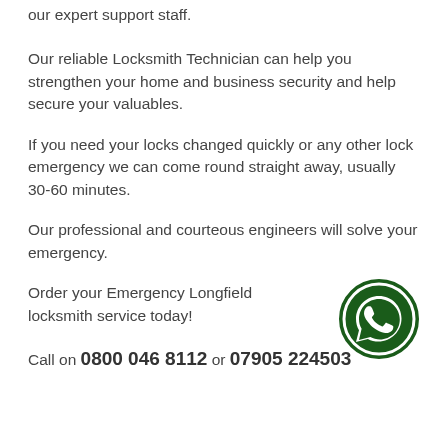our expert support staff.
Our reliable Locksmith Technician can help you strengthen your home and business security and help secure your valuables.
If you need your locks changed quickly or any other lock emergency we can come round straight away, usually 30-60 minutes.
Our professional and courteous engineers will solve your emergency.
Order your Emergency Longfield locksmith service today!
[Figure (logo): WhatsApp icon — dark green circle with white WhatsApp chat bubble/phone logo]
Call on 0800 046 8112 or 07905 224503